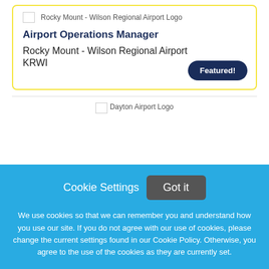[Figure (logo): Rocky Mount - Wilson Regional Airport Logo placeholder image]
Airport Operations Manager
Rocky Mount - Wilson Regional Airport
KRWI
Featured!
[Figure (logo): Dayton Airport Logo placeholder image]
Cookie Settings
Got it
We use cookies so that we can remember you and understand how you use our site. If you do not agree with our use of cookies, please change the current settings found in our Cookie Policy. Otherwise, you agree to the use of the cookies as they are currently set.